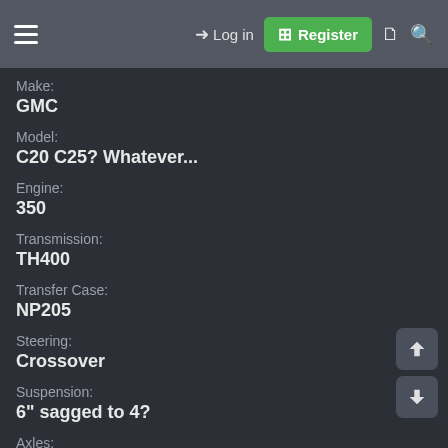Log in  Register
Make:
GMC
Model:
C20 C25? Whatever...
Engine:
350
Transmission:
TH400
Transfer Case:
NP205
Steering:
Crossover
Suspension:
6" sagged to 4?
Axles:
60/14BFF
Wheels: